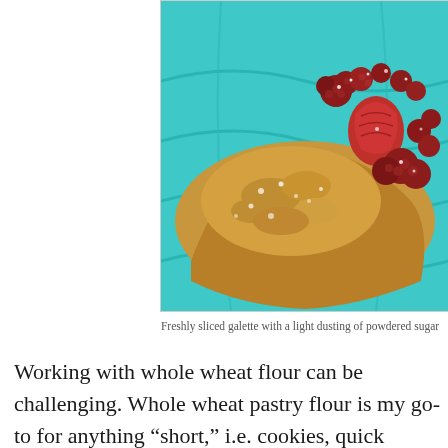[Figure (photo): A slice of berry galette with strawberries, raspberries, and crumble topping dusted with powdered sugar, served on a turquoise plate.]
Freshly sliced galette with a light dusting of powdered sugar
Working with whole wheat flour can be challenging. Whole wheat pastry flour is my go-to for anything "short," i.e. cookies, quick breads, and crusts. Pastry